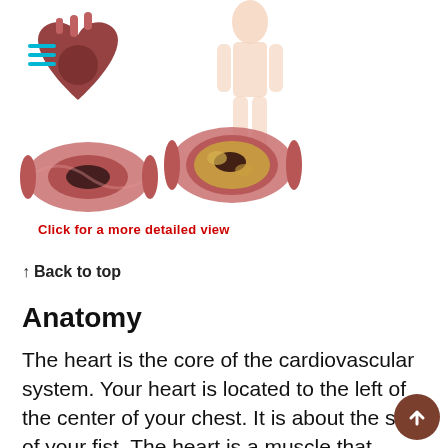[Figure (illustration): Medical illustration showing a human heart (top left), a full human body outline (top right), and two cross-sectional views of arteries/blood vessels (bottom) showing healthy and plaque-blocked cross sections. A hamburger/menu icon in teal appears in the upper left corner of the image.]
Click for a more detailed view
↑ Back to top
Anatomy
The heart is the core of the cardiovascular system.  Your heart is located to the left of the center of your chest.  It is about the size of your fist.  The heart is a muscle that pumps blood throughout your body.  The blood carries oxygen-rich blood that your body cells need for energy.